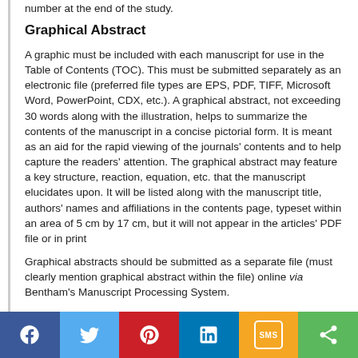number at the end of the study.
Graphical Abstract
A graphic must be included with each manuscript for use in the Table of Contents (TOC). This must be submitted separately as an electronic file (preferred file types are EPS, PDF, TIFF, Microsoft Word, PowerPoint, CDX, etc.). A graphical abstract, not exceeding 30 words along with the illustration, helps to summarize the contents of the manuscript in a concise pictorial form. It is meant as an aid for the rapid viewing of the journals' contents and to help capture the readers' attention. The graphical abstract may feature a key structure, reaction, equation, etc. that the manuscript elucidates upon. It will be listed along with the manuscript title, authors' names and affiliations in the contents page, typeset within an area of 5 cm by 17 cm, but it will not appear in the articles' PDF file or in print
Graphical abstracts should be submitted as a separate file (must clearly mention graphical abstract within the file) online via Bentham's Manuscript Processing System.
You can view a few examples of the Graphical Abstracts on our website.
Keywords